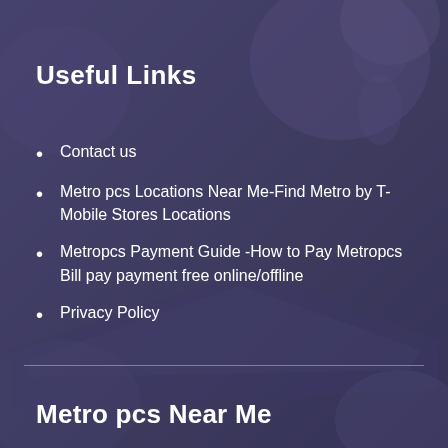[Figure (illustration): Dark purple background with abstract decorative shapes — circular and angular overlapping forms suggesting people or devices in muted purple tones]
Useful Links
Contact us
Metro pcs Locations Near Me-Find Metro by T-Mobile Stores Locations
Metropcs Payment Guide -How to Pay Metropcs Bill pay payment free online/offline
Privacy Policy
Metro pcs Near Me